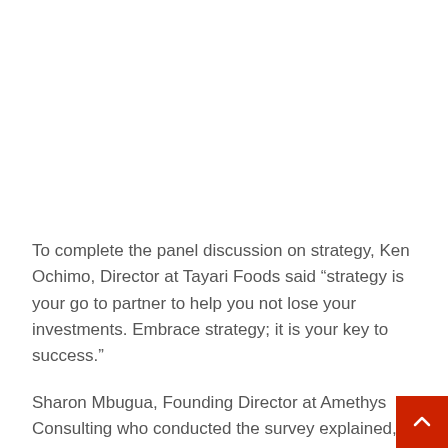To complete the panel discussion on strategy, Ken Ochimo, Director at Tayari Foods said “strategy is your go to partner to help you not lose your investments. Embrace strategy; it is your key to success.”
Sharon Mbugua, Founding Director at Amethys Consulting who conducted the survey explained,